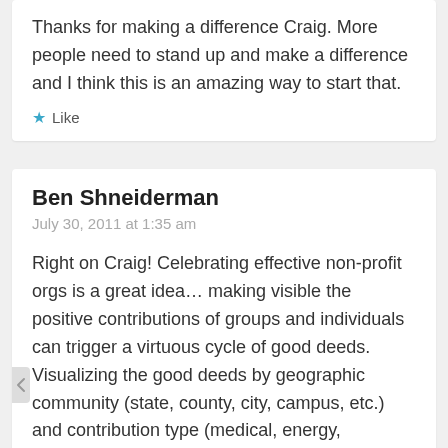Thanks for making a difference Craig. More people need to stand up and make a difference and I think this is an amazing way to start that.
Like
Ben Shneiderman
July 30, 2011 at 1:35 am
Right on Craig! Celebrating effective non-profit orgs is a great idea… making visible the positive contributions of groups and individuals can trigger a virtuous cycle of good deeds. Visualizing the good deeds by geographic community (state, county, city, campus, etc.) and contribution type (medical, energy, educational, community safety, etc.) will bring recognition to those who deserve it. Featuring the community or contribution of the day/week/month will build a collection of great stories to inspire others. A wiki-like approach